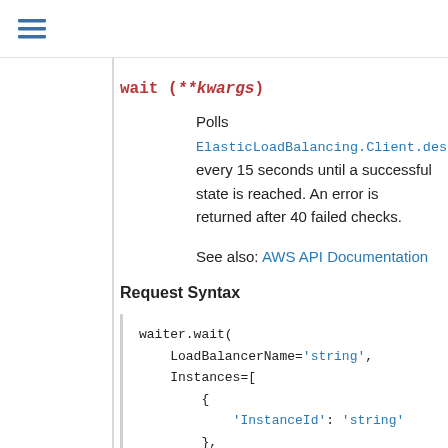≡
wait (**kwargs)
Polls ElasticLoadBalancing.Client.describe_inst every 15 seconds until a successful state is reached. An error is returned after 40 failed checks.
See also: AWS API Documentation
Request Syntax
waiter.wait(
    LoadBalancerName='string',
    Instances=[
        {
            'InstanceId': 'string'
        },
    ],